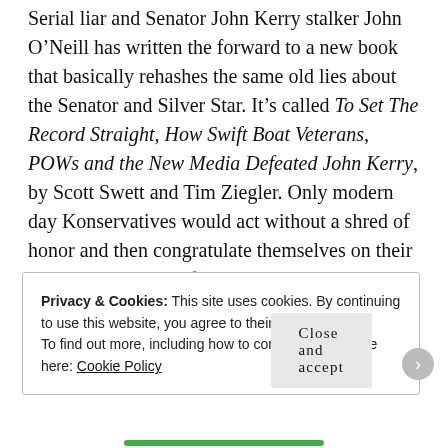Serial liar and Senator John Kerry stalker John O'Neill has written the forward to a new book that basically rehashes the same old lies about the Senator and Silver Star. It's called To Set The Record Straight, How Swift Boat Veterans, POWs and the New Media Defeated John Kerry, by Scott Swett and Tim Ziegler. Only modern day Konservatives would act without a shred of honor and then congratulate themselves on their treachery. The lies of John O'Neill: An MMFA analysis; Swift Boat Vets' founder has told repeated untruths about himself, Swift Boat Vets, Unfit for Command
Privacy & Cookies: This site uses cookies. By continuing to use this website, you agree to their use.
To find out more, including how to control cookies, see here: Cookie Policy
Close and accept